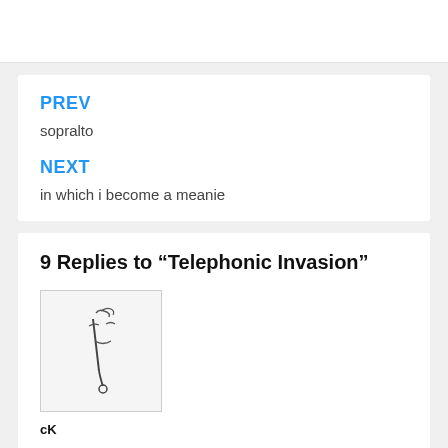PREV
sopralto
NEXT
in which i become a meanie
9 Replies to “Telephonic Invasion”
[Figure (illustration): Avatar image with handwritten-style sketch of a face]
cK